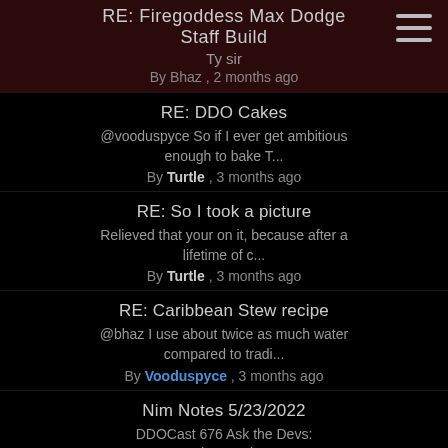RE: Firegoddess Max Dodge Staff Build
Ty sir
By Bhaz , 2 months ago
RE: DDO Cakes
@vooduspyce So if I ever get ambitious enough to bake T...
By Turtle , 3 months ago
RE: So I took a picture
Relieved that your on it, because after a lifetime of c...
By Turtle , 3 months ago
RE: Caribbean Stew recipe
@bhaz I use about twice as much water compared to tradi...
By Vooduspyce , 3 months ago
Nim Notes 5/23/2022
DDOCast 676 Ask the Devs:
Producer Tolero